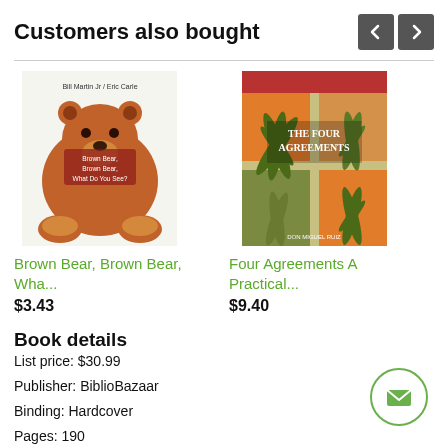Customers also bought
[Figure (illustration): Brown Bear, Brown Bear, What Do You See? book cover — illustrated brown bear on white background with text 'Bill Martin Jr / Eric Carle' and 'Brown Bear, Brown Bear, What Do You See?']
Brown Bear, Brown Bear, Wha...
$3.43
[Figure (illustration): The Four Agreements book cover — colorful illustrated panels with agave plants and title 'The Four Agreements' on green/orange background]
Four Agreements A Practical...
$9.40
Book details
List price: $30.99
Publisher: BiblioBazaar
Binding: Hardcover
Pages: 190